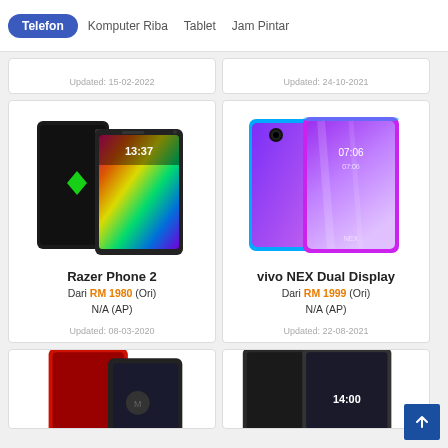Telefon  Komputer Riba  Tablet  Jam Pintar
Updated: 15-02-2022
Updated: 24-10-2021
[Figure (photo): Razer Phone 2 smartphone product image]
Razer Phone 2
Dari RM 1980 (Ori)
N/A (AP)
Updated: 08-03-2020
[Figure (photo): vivo NEX Dual Display smartphone product image]
vivo NEX Dual Display
Dari RM 1999 (Ori)
N/A (AP)
Updated: 22-08-2021
[Figure (photo): Partial view of red smartphone at bottom left]
[Figure (photo): Partial view of dark smartphone at bottom right]